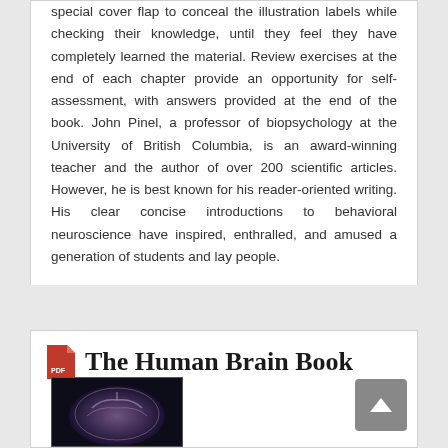special cover flap to conceal the illustration labels while checking their knowledge, until they feel they have completely learned the material. Review exercises at the end of each chapter provide an opportunity for self-assessment, with answers provided at the end of the book. John Pinel, a professor of biopsychology at the University of British Columbia, is an award-winning teacher and the author of over 200 scientific articles. However, he is best known for his reader-oriented writing. His clear concise introductions to behavioral neuroscience have inspired, enthralled, and amused a generation of students and lay people.
The Human Brain Book
[Figure (photo): Thumbnail image of a brain, partially visible at bottom of page]